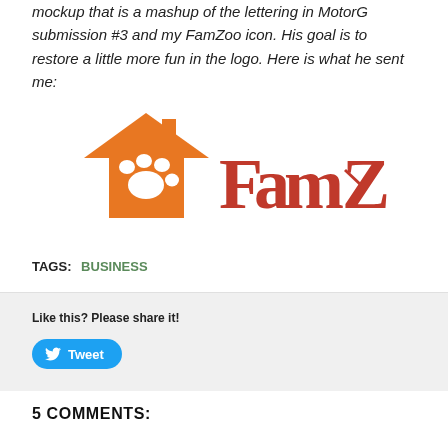mockup that is a mashup of the lettering in MotorG submission #3 and my FamZoo icon. His goal is to restore a little more fun in the logo. Here is what he sent me:
[Figure (logo): FamZoo logo: orange house with white paw print icon on left, red stylized 'FamZoo' text on right]
TAGS: BUSINESS
Like this? Please share it!
[Figure (other): Tweet button with Twitter bird icon]
5 COMMENTS: